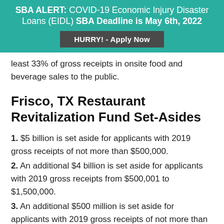SBA ALERT: COVID-19 Economic Injury Disaster Loans (EIDL) SBA Deadline is May 6th, 2022
HURRY! - Apply Now
least 33% of gross receipts in onsite food and beverage sales to the public.
Frisco, TX Restaurant Revitalization Fund Set-Asides
1. $5 billion is set aside for applicants with 2019 gross receipts of not more than $500,000.
2. An additional $4 billion is set aside for applicants with 2019 gross receipts from $500,001 to $1,500,000.
3. An additional $500 million is set aside for applicants with 2019 gross receipts of not more than $50,000